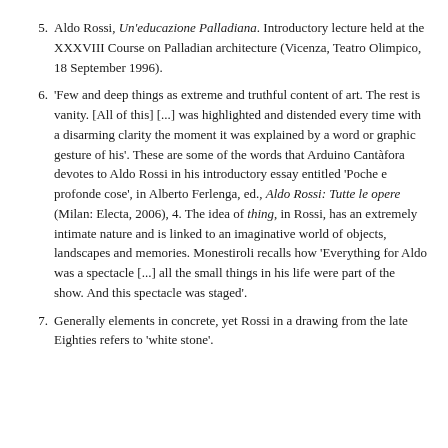5. Aldo Rossi, Un'educazione Palladiana. Introductory lecture held at the XXXVIII Course on Palladian architecture (Vicenza, Teatro Olimpico, 18 September 1996).
6. 'Few and deep things as extreme and truthful content of art. The rest is vanity. [All of this] [...] was highlighted and distended every time with a disarming clarity the moment it was explained by a word or graphic gesture of his'. These are some of the words that Arduino Cantàfora devotes to Aldo Rossi in his introductory essay entitled 'Poche e profonde cose', in Alberto Ferlenga, ed., Aldo Rossi: Tutte le opere (Milan: Electa, 2006), 4. The idea of thing, in Rossi, has an extremely intimate nature and is linked to an imaginative world of objects, landscapes and memories. Monestiroli recalls how 'Everything for Aldo was a spectacle [...] all the small things in his life were part of the show. And this spectacle was staged'.
7. Generally elements in concrete, yet Rossi in a drawing from the late Eighties refers to 'white stone'.